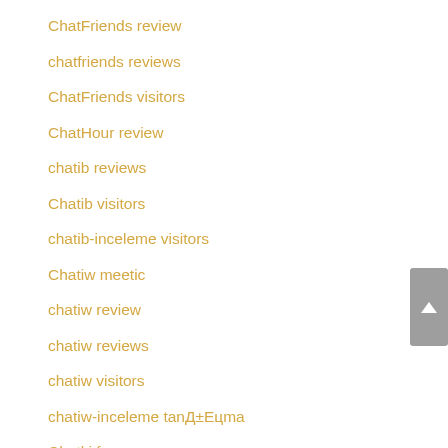ChatFriends review
chatfriends reviews
ChatFriends visitors
ChatHour review
chatib reviews
Chatib visitors
chatib-inceleme visitors
Chatiw meetic
chatiw review
chatiw reviews
chatiw visitors
chatiw-inceleme tanД±Eцma
Chatki frauen app
chatki hookup site